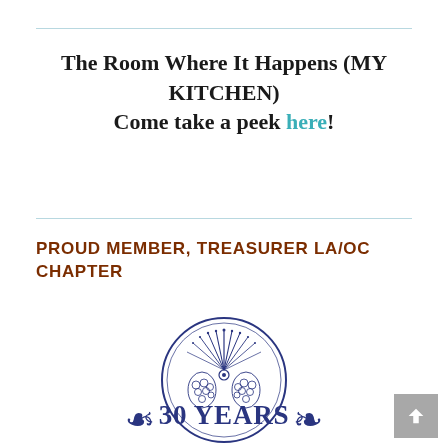The Room Where It Happens (MY KITCHEN) Come take a peek here!
PROUD MEMBER, TREASURER LA/OC CHAPTER
[Figure (logo): Les Dames d'Escoffier International logo — circular emblem with decorative botanical/floral design in dark blue, text 'Les Dames d'Escoffier' and 'INTERNATIONAL' below, with '30 YEARS' text and scroll decoration at bottom]